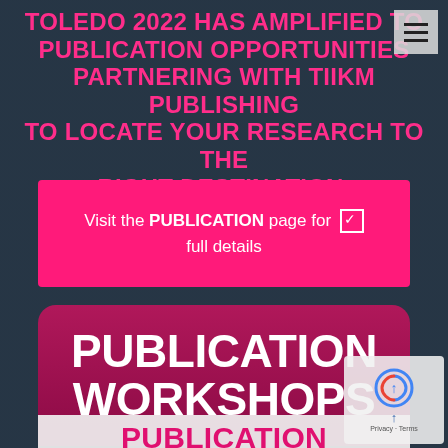TOLEDO 2022 HAS AMPLIFIED TO PUBLICATION OPPORTUNITIES PARTNERING WITH TIIKM PUBLISHING TO LOCATE YOUR RESEARCH TO THE RIGHT DESTINATION.
Visit the PUBLICATION page for ☑ full details
PUBLICATION WORKSHOPS
PUBLICATION